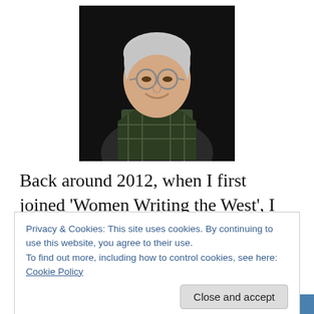[Figure (photo): Portrait photo of an elderly woman with white/gray hair, glasses, and a plaid vest, smiling against a dark background]
Back around 2012, when I first joined ‘Women Writing the West’, I somehow managed to start a correspondence with a fellow author in Kansas—Eunice Boeve. One might think that a romance author sitting in NYC and a predominantly
Privacy & Cookies: This site uses cookies. By continuing to use this website, you agree to their use.
To find out more, including how to control cookies, see here: Cookie Policy
Close and accept